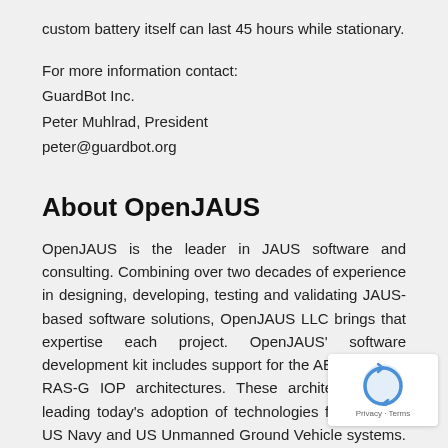custom battery itself can last 45 hours while stationary.
For more information contact:
GuardBot Inc.
Peter Muhlrad, President
peter@guardbot.org
About OpenJAUS
OpenJAUS is the leader in JAUS software and consulting. Combining over two decades of experience in designing, developing, testing and validating JAUS-based software solutions, OpenJAUS LLC brings that expertise each project. OpenJAUS' software development kit includes support for the AEODRS and RAS-G IOP architectures. These architectures are leading today's adoption of technologies for both the US Navy and US Unmanned Ground Vehicle systems. Using OpenJAUS